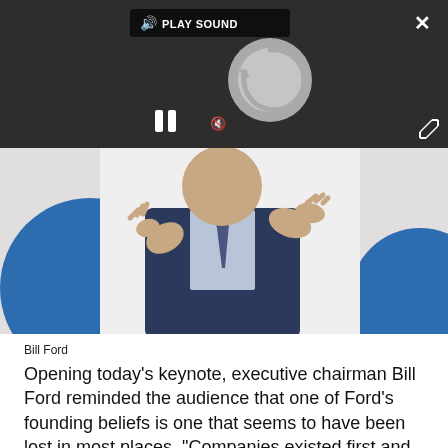[Figure (screenshot): Video player overlay on dark background showing a play sound button, spinning loading indicator, pause button, mute button, close X button, and expand button]
[Figure (photo): Photo of a man in a dark suit gesturing with both hands, speaking at an event with blue and white background]
Bill Ford
Opening today's keynote, executive chairman Bill Ford reminded the audience that one of Ford's founding beliefs is one that seems to have been lost in most places. "Companies existed first and foremost to serve societies," he said. "[That] must be re-interpreted to be relevant for each generation."